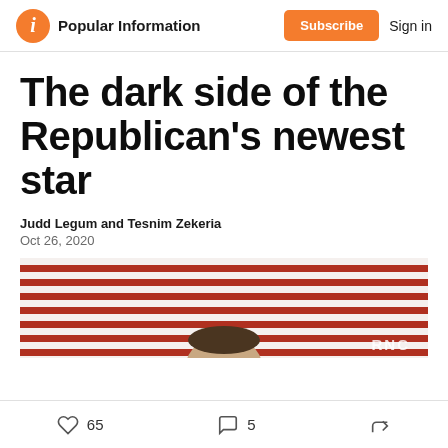Popular Information | Subscribe | Sign in
The dark side of the Republican's newest star
Judd Legum and Tesnim Zekeria
Oct 26, 2020
[Figure (photo): Photo of a man against a red and white striped flag/American flag background, with 'RNC' watermark in bottom right corner]
65 likes · 5 comments · share